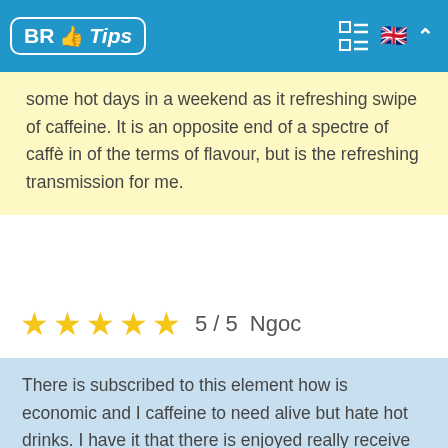BR Tips
some hot days in a weekend as it refreshing swipe of caffeine. It is an opposite end of a spectre of caffè in of the terms of flavour, but is the refreshing transmission for me.
★★★★★ 5 / 5  Ngoc
There is subscribed to this element how is economic and I caffeine to need alive but hate hot drinks. I have it that there is enjoyed really receive my drunk each fortnight but sadly my last delivery is has arrived drenched another box of delivery was dry and this suggests that an element has